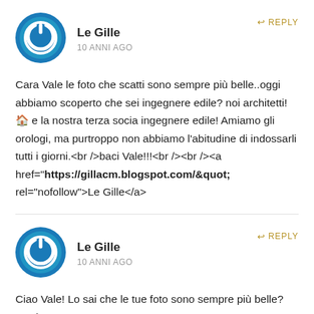[Figure (illustration): Blue circular power button avatar icon for Le Gille commenter]
Le Gille
10 ANNI AGO
REPLY
Cara Vale le foto che scatti sono sempre più belle..oggi abbiamo scoperto che sei ingegnere edile? noi architetti! 🏠 e la nostra terza socia ingegnere edile! Amiamo gli orologi, ma purtroppo non abbiamo l&#39;abitudine di indossarli tutti i giorni.<br />baci Vale!!!<br /><br /><a href="https://gillacm.blogspot.com/&quot; rel="nofollow">Le Gille</a>
[Figure (illustration): Blue circular power button avatar icon for Le Gille commenter (second comment)]
Le Gille
10 ANNI AGO
REPLY
Ciao Vale! Lo sai che le tue foto sono sempre più belle? Oggi